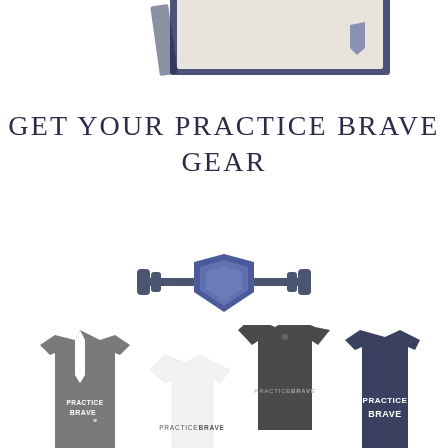[Figure (photo): Partial view of framed image or card at the top of the page, cropped]
GET YOUR PRACTICE BRAVE GEAR
[Figure (logo): Practice Brave logo: a blue shield with a barbell/dumbbell passing through it horizontally, in slate blue and dark blue colors]
[Figure (photo): Collection of Practice Brave branded apparel: gray racerback tank top, white t-shirt, dark gray t-shirt, and dark navy tank top, all with PRACTICE BRAVE text printed on them]